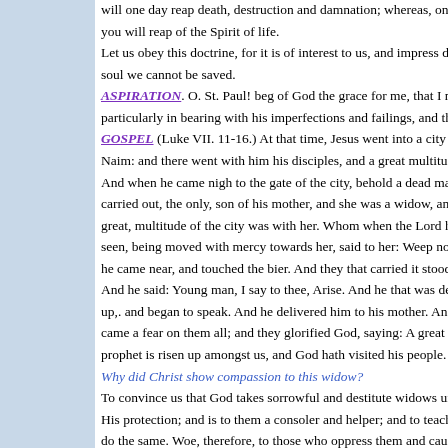will one day reap death, destruction and damnation; whereas, on the contrary, you will reap of the Spirit of life.
Let us obey this doctrine, for it is of interest to us, and impress deeply on our soul we cannot be saved.
ASPIRATION. O. St. Paul! beg of God the grace for me, that I may always, particularly in bearing with his imperfections and failings, and thus fu...
GOSPEL (Luke VII. 11-16.) At that time, Jesus went into a city called Naim: and there went with him his disciples, and a great multitude. And when he came nigh to the gate of the city, behold a dead man was carried out, the only, son of his mother, and she was a widow, and a great, multitude of the city was with her. Whom when the Lord had seen, being moved with mercy towards her, said to her: Weep not. And he came near, and touched the bier. And they that carried it stood still. And he said: Young man, I say to thee, Arise. And he that was dead sat up,. and began to speak. And he delivered him to his mother. And there came a fear on them all; and they glorified God, saying: A great prophet is risen up amongst us, and God hath visited his people.
Why did Christ show compassion to this widow?
To convince us that God takes sorrowful and destitute widows under His protection; and is to them a consoler and helper; and to teach us to do the same. Woe, therefore, to those who oppress them and cause them to weep. The tears and cries of widows will ascend to God, who will terribly punish the injuries inflicted upon them. (Exod xxii. 22. 23.)
Christ had still other reasons for compassion, for He saw in this